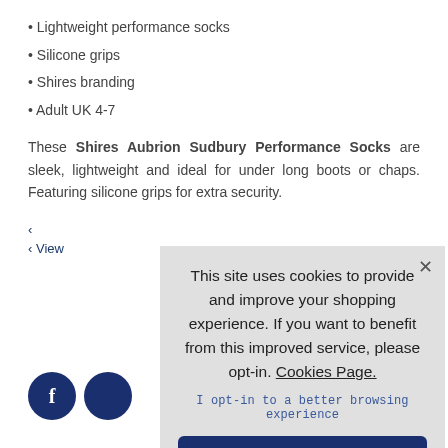Lightweight performance socks
Silicone grips
Shires branding
Adult UK 4-7
These Shires Aubrion Sudbury Performance Socks are sleek, lightweight and ideal for under long boots or chaps. Featuring silicone grips for extra security.
This site uses cookies to provide and improve your shopping experience. If you want to benefit from this improved service, please opt-in. Cookies Page.
I opt-in to a better browsing experience
ACCEPT COOKIES